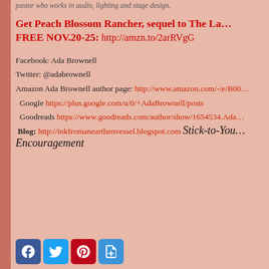pastor who works in audio, lighting and stage design.
Get Peach Blossom Rancher, sequel to The La… FREE NOV.20-25: http://amzn.to/2arRVgG
Facebook: Ada Brownell
Twitter: @adabrownell
Amazon Ada Brownell author page: http://www.amazon.com/-/e/B00…
Google https://plus.google.com/u/0/+AdaBrownell/posts
Goodreads https://www.goodreads.com/author/show/1654534.Ada…
Blog: http://inkfromanearthenvessel.blogspot.com Stick-to-You… Encouragement
[Figure (infographic): Social media share buttons: Facebook (blue), Twitter (blue), Pinterest (red), Share/Plus (blue)]